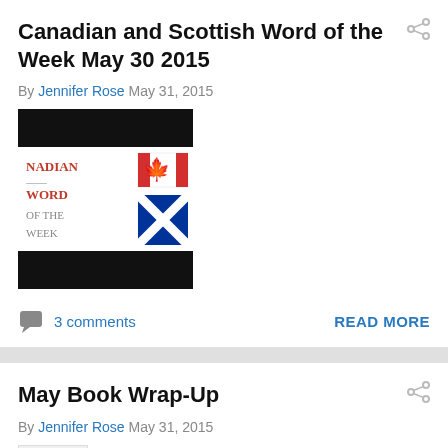Canadian and Scottish Word of the Week May 30 2015
By Jennifer Rose May 31, 2015
[Figure (illustration): Blog post thumbnail image showing Canadian and Scottish Word of the Week graphic with Canadian flag and Scottish flag]
3 comments
READ MORE
May Book Wrap-Up
By Jennifer Rose May 31, 2015
Probably not going to finish anything else in